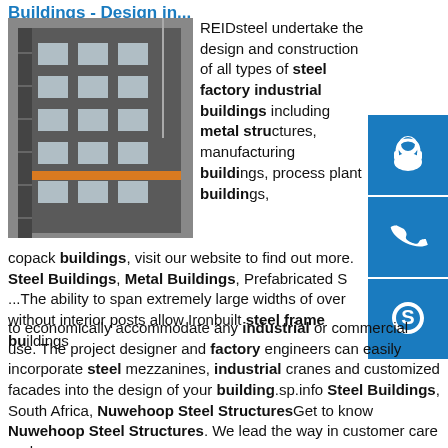Buildings - Design in...
[Figure (photo): Photo of a multi-storey steel industrial building exterior with blue cladding, windows, and external staircase with orange accent stripe]
REIDsteel undertake the design and construction of all types of steel factory industrial buildings including metal structures, manufacturing buildings, process plant buildings, copack buildings, visit our website to find out more. Steel Buildings, Metal Buildings, Prefabricated S... ...The ability to span extremely large widths of over without interior posts allow Ironbuilt steel frame buildings to economically accommodate any industrial or commercial use. The project designer and factory engineers can easily incorporate steel mezzanines, industrial cranes and customized facades into the design of your building.sp.info Steel Buildings, South Africa, Nuwehoop Steel StructuresGet to know Nuwehoop Steel Structures. We lead the way in customer care and